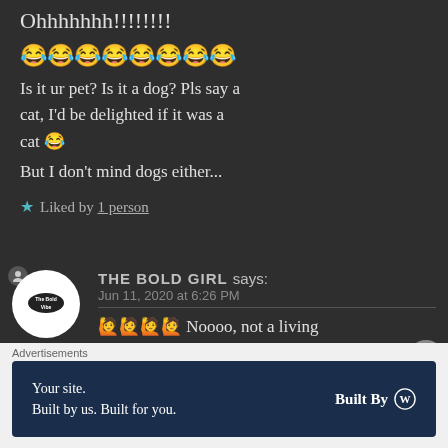Ohhhhhhh!!!!!!!!
😂😂😂😂😂😂😂😂
Is it ur pet? Is it a dog? Pls say a cat, I'd be delighted if it was a cat 😂
But I don't mind dogs either...
★ Liked by 1 person
THE BOLD GIRL says: Jun 11, 2020 at 6:26 PM
🙋🙋🙋🙋 Noooo, not a living thing 🙂 Now how do I tell
Advertisements
Your site. Built by us. Built for you. Built By WordPress